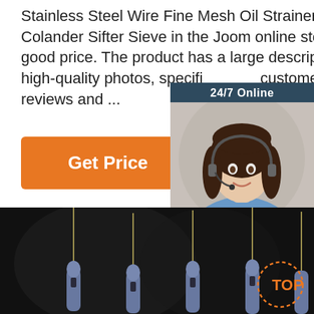Stainless Steel Wire Fine Mesh Oil Strainer Flour Colander Sifter Sieve in the Joom online store at a good price. The product has a large description, high-quality photos, specifications, customer reviews and ...
[Figure (other): Orange 'Get Price' button]
[Figure (other): 24/7 Online chat widget with woman wearing headset, 'Click here for free chat!' text and orange QUOTATION button]
[Figure (photo): Dark background product photo showing multiple long needle-like tools with grey handles, and a TOP logo badge in the bottom right]